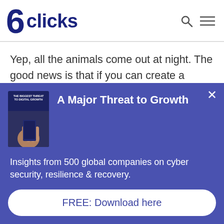6clicks
Yep, all the animals come out at night. The good news is that if you can create a decent cyber resilience program within your business by bringing these below elements together, you'll be on your way
[Figure (infographic): Popup banner with book cover image and text 'A Major Threat to Growth']
Insights from 500 global companies on cyber security, resilience & recovery.
FREE: Download here